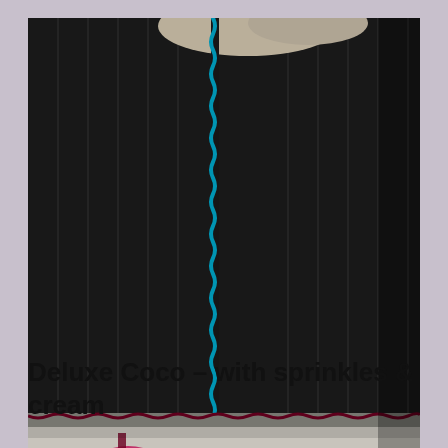[Figure (photo): Close-up photo of clothing/fabric showing a black ribbed waistband with a teal/blue overlock stitch running vertically down the center, and a light grey fabric below with a pink/magenta floral or heart pattern print.]
Deluxe Coco – with sprinkles & cream